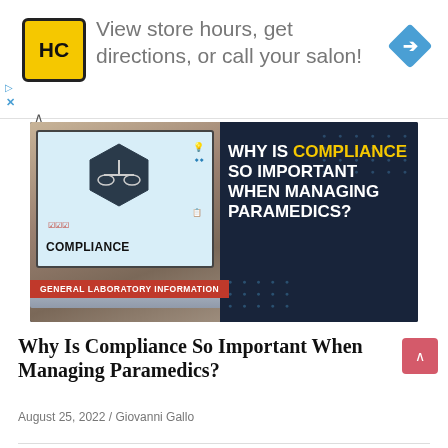[Figure (infographic): Advertisement banner for HC salon: yellow HC logo, text 'View store hours, get directions, or call your salon!', blue diamond arrow icon]
[Figure (infographic): Hero image with laptop showing COMPLIANCE hexagon icon on screen, dark background with bold text: WHY IS COMPLIANCE SO IMPORTANT WHEN MANAGING PARAMEDICS? and red badge: GENERAL LABORATORY INFORMATION]
Why Is Compliance So Important When Managing Paramedics?
August 25, 2022 / Giovanni Gallo